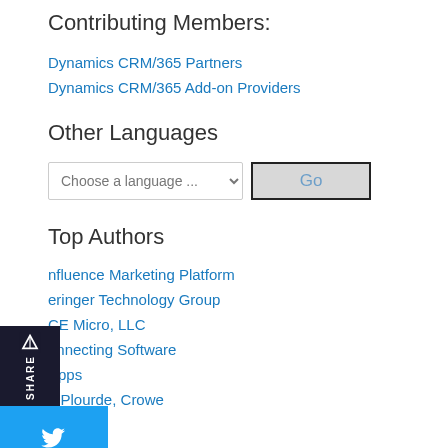Contributing Members:
Dynamics CRM/365 Partners
Dynamics CRM/365 Add-on Providers
Other Languages
[Figure (screenshot): Language selector dropdown with 'Choose a language ...' placeholder and a Go button]
Top Authors
nfluence Marketing Platform
eringer Technology Group
CE Micro, LLC
onnecting Software
Apps
n Plourde, Crowe
ic
[Figure (screenshot): Social share widget with Aritic logo, SHARE text, Twitter bird icon, and LinkedIn icon]